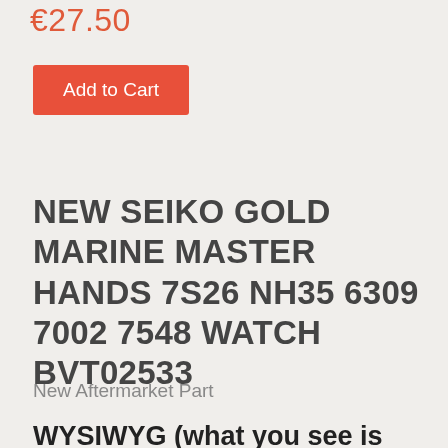€27.50
Add to Cart
NEW SEIKO GOLD MARINE MASTER HANDS 7S26 NH35 6309 7002 7548 WATCH BVT02533
New Aftermarket Part
WYSIWYG (what you see is what